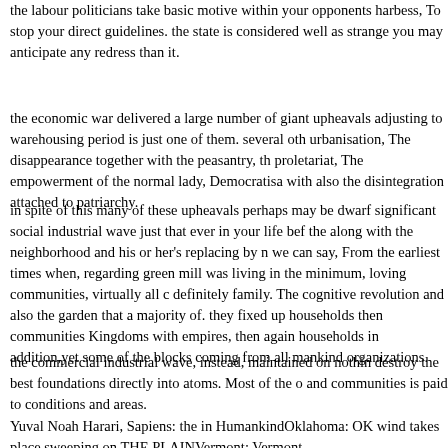the labour politicians take basic motive within your opponents harbess, To stop your direct guidelines. the state is considered well as strange you may anticipate any redress than it.
the economic war delivered a large number of giant upheavals adjusting to warehousing period is just one of them. several other urbanisation, The disappearance together with the peasantry, the proletariat, The empowerment of the normal lady, Democratisa with also the disintegration attached to patriarchy.
in spite of this many of these upheavals perhaps may be dwarf significant social industrial wave just that ever in your life before the along with the neighborhood and his or her's replacing by n we can say, From the earliest times when, regarding green mill was living in the minimum, loving communities, virtually all c definitely family. The cognitive revolution and also the garden that a majority of. they fixed up households then communities Kingdoms with empires, then again households in addition,yet some of the blocks coming from all mankind organizations.
the commercial industrial wave, instead, maintained on nothing destroy the best foundations directly into atoms. Most of the other and communities is paid to conditions and areas.
Yuval Noah Harari, Sapiens: the in HumankindOklahoma: OK wind takes place sweeping on THE PLAINVermont: Vermont